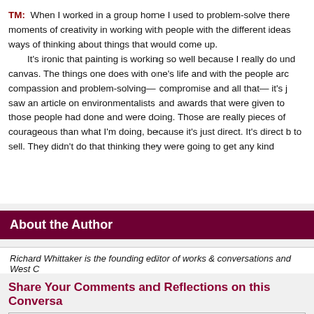TM: When I worked in a group home I used to problem-solve there moments of creativity in working with people with the different ideas ways of thinking about things that would come up. It's ironic that painting is working so well because I really do unc canvas. The things one does with one's life and with the people arc compassion and problem-solving— compromise and all that— it's j saw an article on environmentalists and awards that were given to those people had done and were doing. Those are really pieces of courageous than what I'm doing, because it's just direct. It's direct b to sell. They didn't do that thinking they were going to get any kind
About the Author
Richard Whittaker is the founding editor of works & conversations and West C
Share Your Comments and Reflections on this Conversa
What do you think?